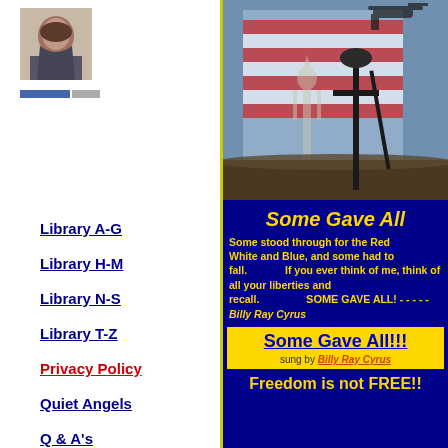[Figure (photo): Profile photo of a person with dark hair]
Library A-G
Library H-M
Library N-S
Library T-Z
Privacy Policy
Quiet Angels
Q & A's
Website Intent
[Figure (photo): Military tribute image with American flag, Statue of Liberty silhouette, and soldier cross/rifle memorial silhouette]
Some Gave All
Some stood through for the Red White and Blue, and some had to fall.                    If you ever think of me, think of all your liberties and recall.                                    SOME GAVE ALL! - - - - - Billy Ray Cyrus
Some Gave All!!! sung by Billy Ray Cyrus
Freedom is not FREE!!